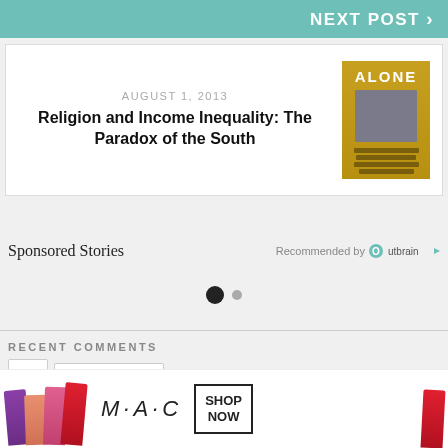NEXT POST >
Religion and Income Inequality: The Paradox of the South
AUGUST 1, 2013
[Figure (photo): Book cover for 'Alone']
Sponsored Stories
Recommended by Outbrain
[Figure (other): Dot pagination indicator: one filled dark dot and one smaller grey dot]
RECENT COMMENTS
COMMENTS
[Figure (photo): MAC cosmetics advertisement showing lipsticks with SHOP NOW button]